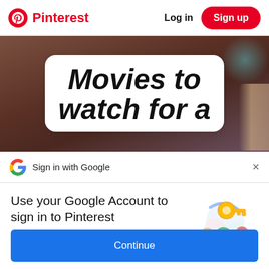Pinterest  Log in  Sign up
[Figure (photo): Pinterest pin image showing bold italic text 'Movies to watch for a' on a white card held against a dark background]
Sign in with Google
Use your Google Account to sign in to Pinterest
No more passwords to remember. Signing in is fast, simple and secure.
[Figure (illustration): Google account illustration showing a golden key, colorful circles and arrows representing secure sign-in]
Continue